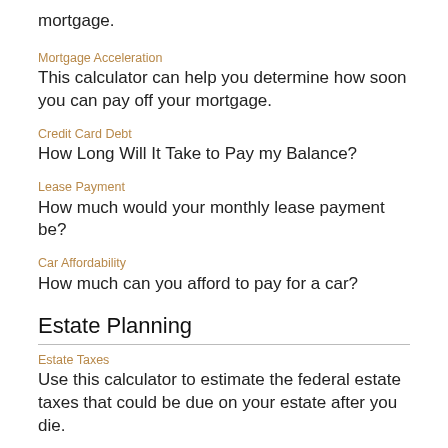mortgage.
Mortgage Acceleration
This calculator can help you determine how soon you can pay off your mortgage.
Credit Card Debt
How Long Will It Take to Pay my Balance?
Lease Payment
How much would your monthly lease payment be?
Car Affordability
How much can you afford to pay for a car?
Estate Planning
Estate Taxes
Use this calculator to estimate the federal estate taxes that could be due on your estate after you die.
Retirement & Inflation
Cost of Retirement
Use this calculator to estimate how much income and savings you need this retirement.